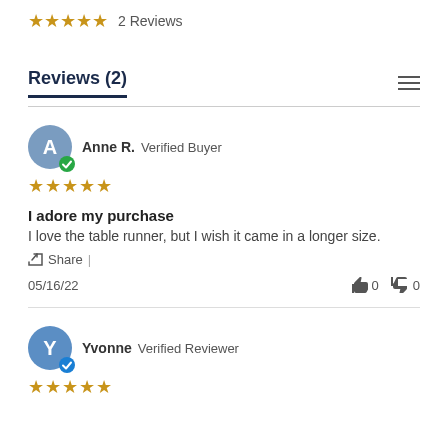★★★★★ 2 Reviews
Reviews (2)
Anne R.  Verified Buyer
★★★★★
I adore my purchase
I love the table runner, but I wish it came in a longer size.
Share
05/16/22  👍 0  👎 0
Yvonne  Verified Reviewer
★★★★★